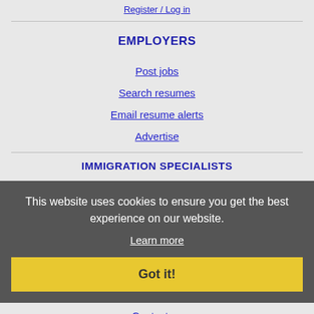Register / Log in
EMPLOYERS
Post jobs
Search resumes
Email resume alerts
Advertise
IMMIGRATION SPECIALISTS
This website uses cookies to ensure you get the best experience on our website.
Learn more
Got it!
MORE
FAQ
Contact us